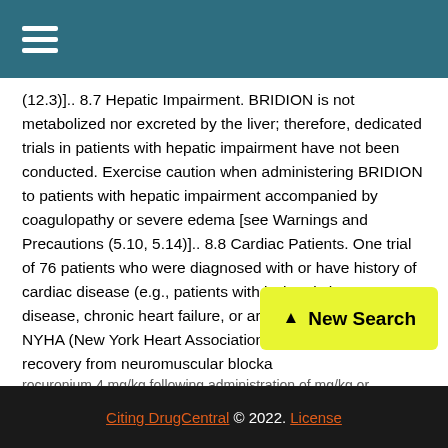☰ (hamburger menu icon)
(12.3)].. 8.7 Hepatic Impairment. BRIDION is not metabolized nor excreted by the liver; therefore, dedicated trials in patients with hepatic impairment have not been conducted. Exercise caution when administering BRIDION to patients with hepatic impairment accompanied by coagulopathy or severe edema [see Warnings and Precautions (5.10, 5.14)].. 8.8 Cardiac Patients. One trial of 76 patients who were diagnosed with or have history of cardiac disease (e.g., patients with ischemic heart disease, chronic heart failure, or arrhythmia) of primarily NYHA (New York Heart Association) Class II investi... recovery from neuromuscular blocka... rocuronium 4 mg/kg following administration of mg/kg or
Citing DrugCentral © 2022. License